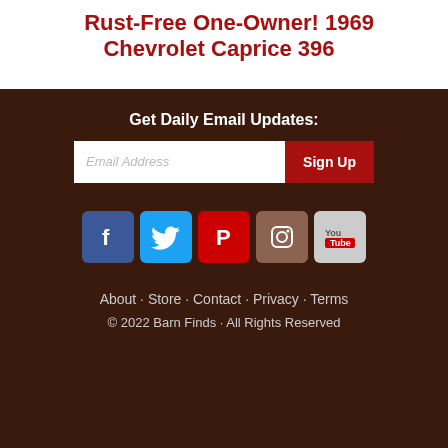Rust-Free One-Owner! 1969 Chevrolet Caprice 396
Get Daily Email Updates:
[Figure (other): Email signup form with text input field showing placeholder 'Email Address' and a dark red 'Sign Up' button]
[Figure (other): Row of five social media icon buttons: Facebook (blue), Twitter (light blue), Pinterest (red), Instagram (brown), YouTube (gray)]
About · Store · Contact · Privacy · Terms
© 2022 Barn Finds · All Rights Reserved